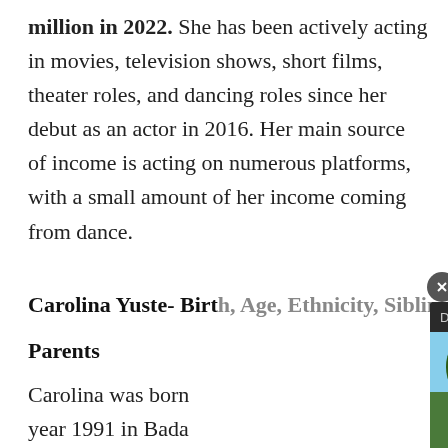million in 2022. She has been actively acting in movies, television shows, short films, theater roles, and dancing roles since her debut as an actor in 2016. Her main source of income is acting on numerous platforms, with a small amount of her income coming from dance.
Carolina Yuste- Birth, Age, Ethnicity, Siblings
Parents
Carolina was born in the year 1991 in Bada
[Figure (screenshot): Video player overlay showing 'Driving Alone Acr...' with a thumbnail of a Southeast Asian temple/building with palm trees, and a play button in the center. A close button (X) appears at the top of the overlay.]